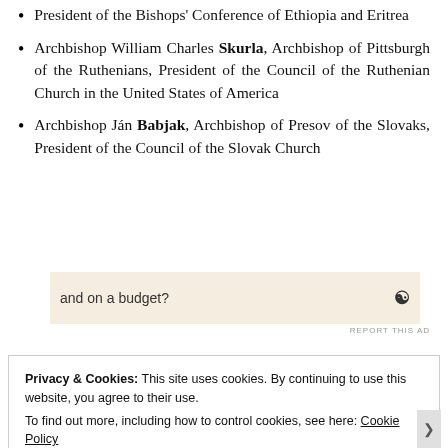President of the Bishops' Conference of Ethiopia and Eritrea
Archbishop William Charles Skurla, Archbishop of Pittsburgh of the Ruthenians, President of the Council of the Ruthenian Church in the United States of America
Archbishop Ján Babjak, Archbishop of Presov of the Slovaks, President of the Council of the Slovak Church
[Figure (other): Advertisement banner with text 'and on a budget?' and a logo icon, with 'REPORT THIS AD' label below]
Privacy & Cookies: This site uses cookies. By continuing to use this website, you agree to their use. To find out more, including how to control cookies, see here: Cookie Policy